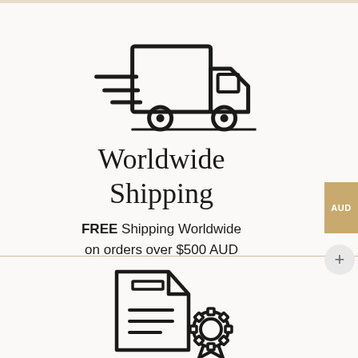[Figure (illustration): Line icon of a delivery truck with motion lines on the left side, facing right]
Worldwide Shipping
FREE Shipping Worldwide on orders over $500 AUD
[Figure (illustration): Line icon of a certificate/document with a seal/badge on the lower right]